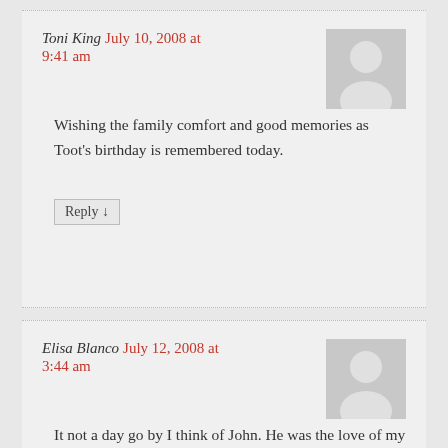Toni King July 10, 2008 at 9:41 am
Wishing the family comfort and good memories as Toot's birthday is remembered today.
Reply ↓
Elisa Blanco July 12, 2008 at 3:44 am
It not a day go by I think of John. He was the love of my life. He taught me alot about the business and life. Go for your dreams and